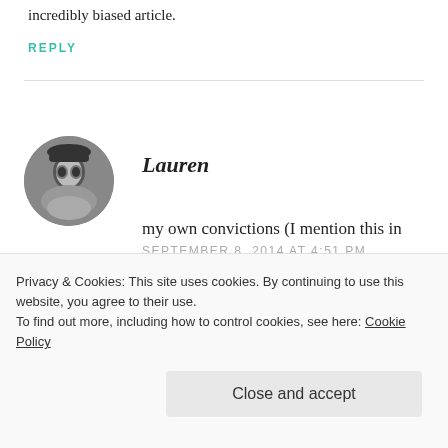incredibly biased article.
REPLY
[Figure (photo): Black and white circular avatar photo of Lauren, a woman wearing glasses and a hat]
Lauren
SEPTEMBER 8, 2014 AT 4:51 PM
Hi Frank, thank you for reading. I agree with you in part–the part where I have written from bias.
Privacy & Cookies: This site uses cookies. By continuing to use this website, you agree to their use.
To find out more, including how to control cookies, see here: Cookie Policy
Close and accept
my own convictions (I mention this in